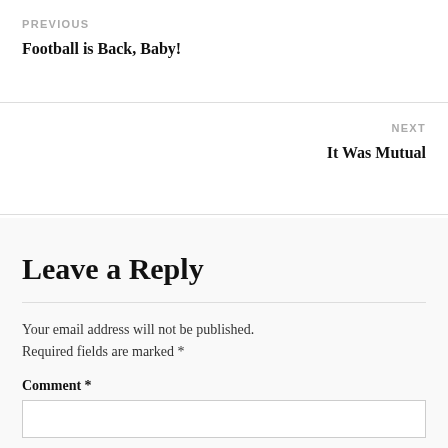PREVIOUS
Football is Back, Baby!
NEXT
It Was Mutual
Leave a Reply
Your email address will not be published. Required fields are marked *
Comment *